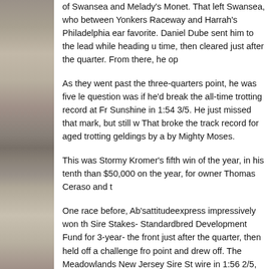[Figure (photo): Black and white photograph of people, partially visible on the left side of the page.]
of Swansea and Melady's Monet. That left Swansea, who between Yonkers Raceway and Harrah's Philadelphia ear favorite. Daniel Dube sent him to the lead while heading u time, then cleared just after the quarter. From there, he op
As they went past the three-quarters point, he was five le question was if he'd break the all-time trotting record at Fr Sunshine in 1:54 3/5. He just missed that mark, but still w That broke the track record for aged trotting geldings by a by Mighty Moses.
This was Stormy Kromer's fifth win of the year, in his tenth than $50,000 on the year, for owner Thomas Ceraso and t
One race before, Ab'sattitudeexpress impressively won th Sire Stakes- Standardbred Development Fund for 3-year- the front just after the quarter, then held off a challenge fro point and drew off. The Meadowlands New Jersey Sire St wire in 1:56 2/5, for owner/breeder Stop the Jade Farm, tr George Brennan.